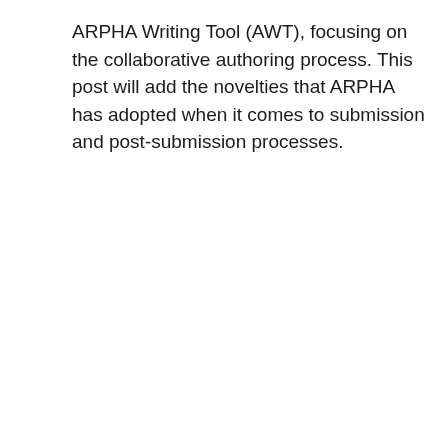ARPHA Writing Tool (AWT), focusing on the collaborative authoring process. This post will add the novelties that ARPHA has adopted when it comes to submission and post-submission processes.